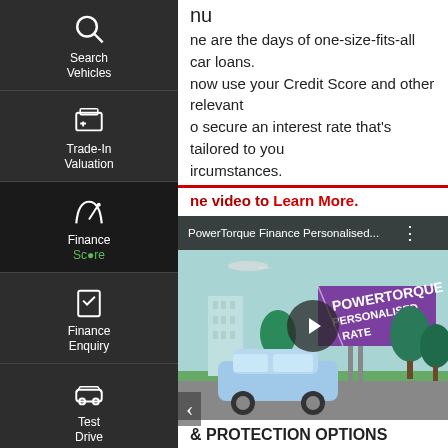[Figure (screenshot): Mobile app sidebar navigation with dark background, showing icons and labels: Search Vehicles, Trade-In Valuation, Finance Score, Finance Enquiry, Test Drive, Click To Buy]
menu
...ne are the days of one-size-fits-all car loans. ...now use your Credit Score and other relevant ...o secure an interest rate that's tailored to you ...ircumstances.
...ne video to Learn More.
[Figure (screenshot): YouTube-style embedded video thumbnail for 'PowerTorque Finance Personalised...' showing animated car driving past a billboard reading POWERTORQUE PERSONALISED RATE, with play button overlay]
& PROTECTION OPTIONS